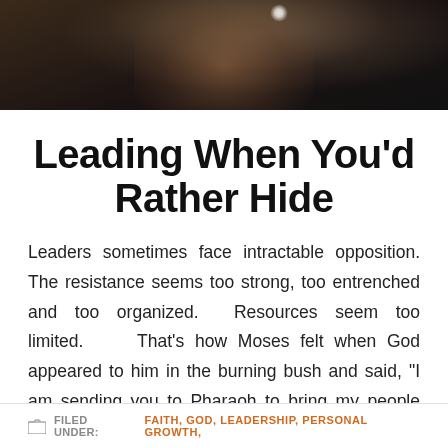[Figure (photo): Dark atmospheric photo banner showing a partial silhouette/face in shadow with a small bright light point visible]
Leading When You'd Rather Hide
Leaders sometimes face intractable opposition. The resistance seems too strong, too entrenched and too organized.  Resources seem too limited.    That's how Moses felt when God appeared to him in the burning bush and said, "I am sending you to Pharaoh to bring my people the Israelites out of Egypt" (Ex.3: 10). Moses responded to [...]
FILED UNDER: FAITH, GOD, LEADERSHIP, PERSONAL GROWTH,